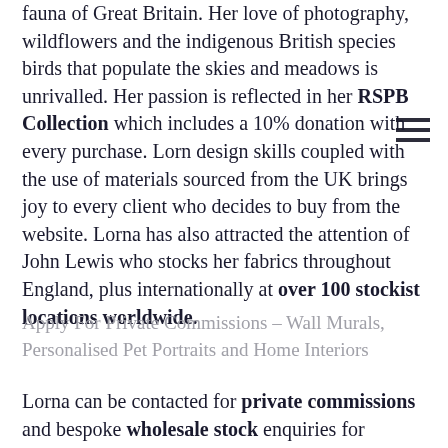fauna of Great Britain. Her love of photography, wildflowers and the indigenous British species birds that populate the skies and meadows is unrivalled. Her passion is reflected in her RSPB Collection which includes a 10% donation with every purchase. Lorn design skills coupled with the use of materials sourced from the UK brings joy to every client who decides to buy from the website. Lorna has also attracted the attention of John Lewis who stocks her fabrics throughout England, plus internationally at over 100 stockist locations worldwide.
Apply For Private Commissions – Wall Murals, Personalised Pet Portraits and Home Interiors
Lorna can be contacted for private commissions and bespoke wholesale stock enquiries for wallpaper designs – The minimum order quantities for bespoke wallpaper colourway are 12 rolls and made-to-order